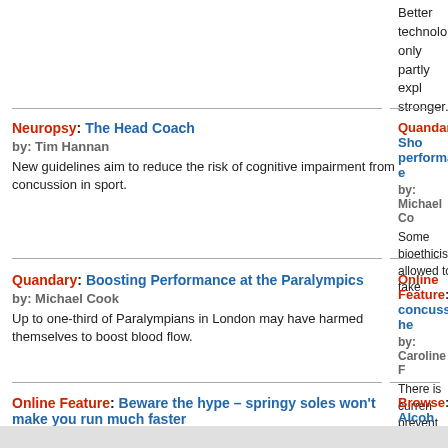Better technolo only partly expl stronger.
Neuropsy: The Head Coach by: Tim Hannan New guidelines aim to reduce the risk of cognitive impairment from concussion in sport.
Quandary: Sho performance-e by: Michael Co Some bioethicis allowed to take
Quandary: Boosting Performance at the Paralympics by: Michael Cook Up to one-third of Paralympians in London may have harmed themselves to boost blood flow.
Online Feature: concussion he by: Caroline F There is curren prevent concus like AFL and ru
Online Feature: Beware the hype – springy soles won't make you run much faster
Browse: Alcoh Drinking by At